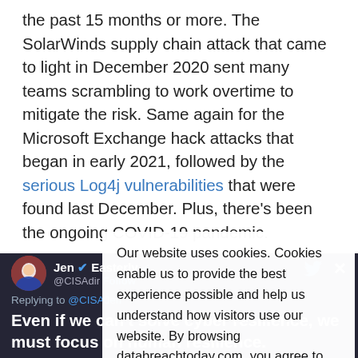the past 15 months or more. The SolarWinds supply chain attack that came to light in December 2020 sent many teams scrambling to work overtime to mitigate the risk. Same again for the Microsoft Exchange hack attacks that began in early 2021, followed by the serious Log4j vulnerabilities that were found last December. Plus, there's been the ongoing COVID-19 pandemic.
At least anecdotally, burnout among cybersecurity professionals has been rife, at a time when they're most needed.
Our website uses cookies. Cookies enable us to provide the best experience possible and help us understand how visitors use our website. By browsing databreachtoday.com, you agree to our use of cookies.
[Figure (screenshot): Tweet from Jen Easterly (@CISADir) with Twitter logo and X close button, replying to @CISAJen. Tweet text: Even if we can't solve cyber resilience, we must focus on human resilience. Defenders across the world are working flat]
Even if we can't solve cyber resilience, we must focus on human resilience. Defenders across the world are working flat